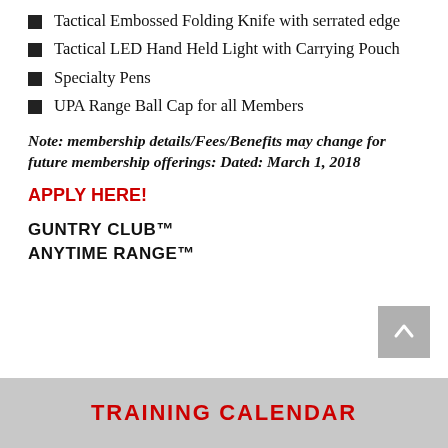Tactical Embossed Folding Knife with serrated edge
Tactical LED Hand Held Light with Carrying Pouch
Specialty Pens
UPA Range Ball Cap for all Members
Note: membership details/Fees/Benefits may change for future membership offerings: Dated: March 1, 2018
APPLY HERE!
GUNTRY CLUB™
ANYTIME RANGE™
TRAINING CALENDAR